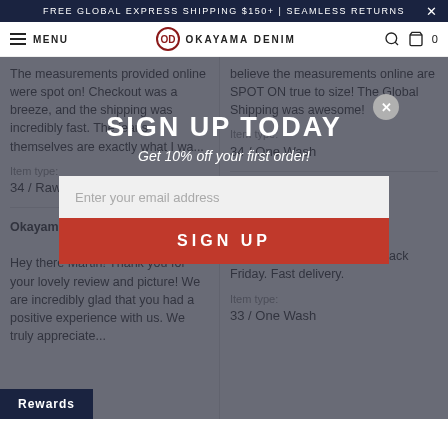FREE GLOBAL EXPRESS SHIPPING $150+ | SEAMLESS RETURNS
MENU  OKAYAMA DENIM  0
The measurements provided online were spot on! Checkout was a breeze, and the shipping was incredibly fast. The jeans themselves are exactly what I wa...
believe the measurements online are SPOT ON true to size! The Global Shipping was awesome!
Item type:
34 / Raw
Item type:
34 / One Wash
Okayama Denim replied:
Hey there Martin! Thank you for your lovely review and picture! We are incredibly glad that you had a positive experience with us. We truly appreciate...
Oleg T. ✓
12/6/2021
[Figure (other): Five red star rating]
Great jeans. Nice price on Black Friday. Fast delivery.
Item type:
33 / One Wash
[Figure (screenshot): Sign Up Today modal overlay with email input and SIGN UP button, offering 10% off first order]
Rewards